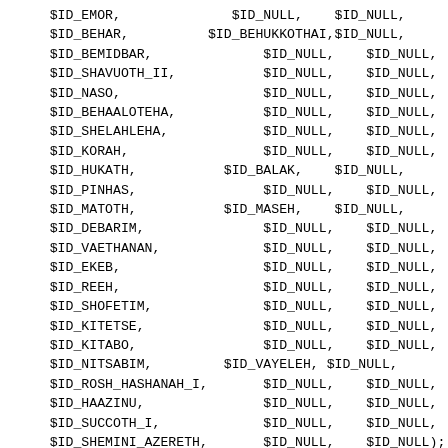$ID_EMOR,              $ID_NULL,    $ID_NULL,
    $ID_BEHAR,          $ID_BEHUKKOTHAI,$ID_NULL,
    $ID_BEMIDBAR,              $ID_NULL,    $ID_NULL,
    $ID_SHAVUOTH_II,           $ID_NULL,    $ID_NULL,
    $ID_NASO,                  $ID_NULL,    $ID_NULL,
    $ID_BEHAALOTEHA,           $ID_NULL,    $ID_NULL,
    $ID_SHELAHLEHA,            $ID_NULL,    $ID_NULL,
    $ID_KORAH,                 $ID_NULL,    $ID_NULL,
    $ID_HUKATH,           $ID_BALAK,    $ID_NULL,
    $ID_PINHAS,                $ID_NULL,    $ID_NULL,
    $ID_MATOTH,           $ID_MASEH,    $ID_NULL,
    $ID_DEBARIM,               $ID_NULL,    $ID_NULL,
    $ID_VAETHANAN,             $ID_NULL,    $ID_NULL,
    $ID_EKEB,                  $ID_NULL,    $ID_NULL,
    $ID_REEH,                  $ID_NULL,    $ID_NULL,
    $ID_SHOFETIM,              $ID_NULL,    $ID_NULL,
    $ID_KITETSE,               $ID_NULL,    $ID_NULL,
    $ID_KITABO,                $ID_NULL,    $ID_NULL,
    $ID_NITSABIM,         $ID_VAYELEH, $ID_NULL,
    $ID_ROSH_HASHANAH_I,       $ID_NULL,    $ID_NULL,
    $ID_HAAZINU,               $ID_NULL,    $ID_NULL,
    $ID_SUCCOTH_I,             $ID_NULL,    $ID_NULL,
    $ID_SHEMINI_AZERETH,       $ID_NULL,    $ID_NULL);

$torahSectionsCIsrael = array
  ($ID_BERESHITH,             $ID_NULL,    $ID_NULL,
    $ID_NOAH,                  $ID_NULL,    $ID_NULL,
    $ID_LEHLEHA,               $ID_NULL,    $ID_NULL,
    $ID_VAYERA,                $ID_NULL,    $ID_NULL,
    $ID_HAYESARAH,             $ID_NULL,    $ID_NULL,